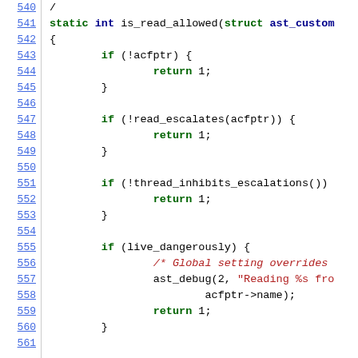[Figure (screenshot): Source code listing showing lines 540-561 of a C function is_read_allowed with syntax highlighting. Green bold keywords, blue bold types, red strings and comments, black plain text. Line numbers on left in blue underlined.]